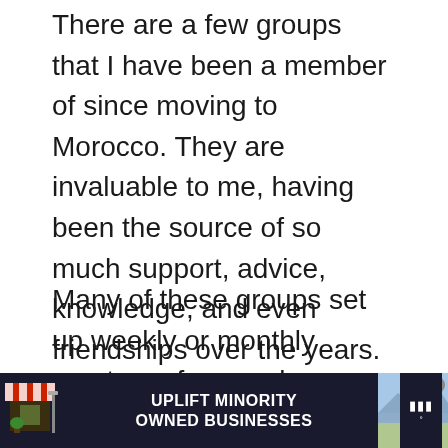There are a few groups that I have been a member of since moving to Morocco. They are invaluable to me, having been the source of so much support, advice, knowledge, and even friendships over the years.
Many of these groups set up weekly or monthly meet-ups for members; it's the perfect way to meet new people.
[Figure (infographic): Heart/like button (red circle with white heart icon) showing 40 likes, and a share button (light circle with share icon)]
[Figure (infographic): What's Next card showing a desert/Morocco landscape thumbnail image with text 'WHAT'S NEXT → Traveling to Morocco in...']
[Figure (infographic): Advertisement banner: dark background with storefront illustration on left, text 'UPLIFT MINORITY OWNED BUSINESSES', landscape photo on right, close button, and brand logo]